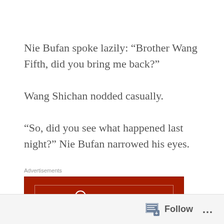Nie Bufan spoke lazily: “Brother Wang Fifth, did you bring me back?”
Wang Shichan nodded casually.
“So, did you see what happened last night?” Nie Bufan narrowed his eyes.
Advertisements
[Figure (other): Longreads advertisement banner with dark red background. Shows Longreads logo and tagline: The best stories on the web – ours, and everyone else’s.]
Follow ...